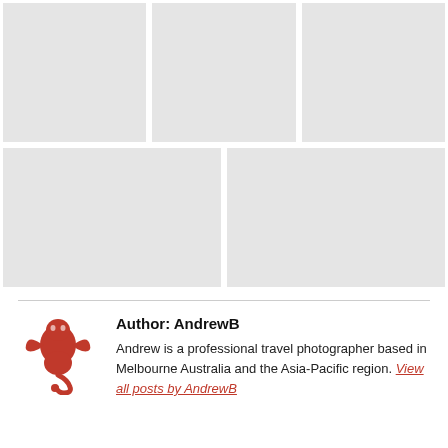[Figure (photo): A 3x2 photo gallery grid showing 5 placeholder image cells (light gray rectangles): top row has 3 cells, bottom row has 2 wider cells.]
Author: AndrewB
Andrew is a professional travel photographer based in Melbourne Australia and the Asia-Pacific region. View all posts by AndrewB